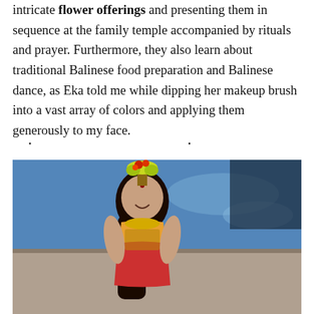intricate flower offerings and presenting them in sequence at the family temple accompanied by rituals and prayer. Furthermore, they also learn about traditional Balinese food preparation and Balinese dance, as Eka told me while dipping her makeup brush into a vast array of colors and applying them generously to my face.
· · ·
[Figure (photo): A young woman wearing traditional Balinese dance costume and headdress with yellow and red flowers, smiling, seated in front of a blue swimming pool and outdoor area.]